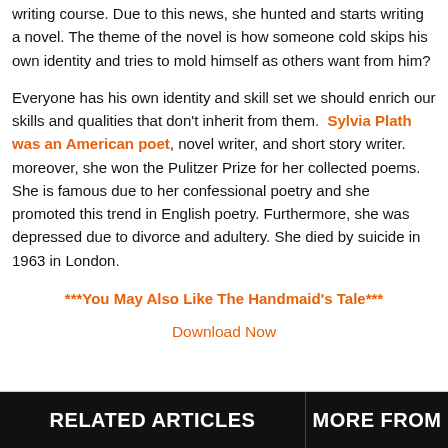writing course. Due to this news, she hunted and starts writing a novel. The theme of the novel is how someone cold skips his own identity and tries to mold himself as others want from him?
Everyone has his own identity and skill set we should enrich our skills and qualities that don't inherit from them. Sylvia Plath was an American poet, novel writer, and short story writer. moreover, she won the Pulitzer Prize for her collected poems. She is famous due to her confessional poetry and she promoted this trend in English poetry. Furthermore, she was depressed due to divorce and adultery. She died by suicide in 1963 in London.
***You May Also Like The Handmaid's Tale***
Download Now
RELATED ARTICLES    MORE FROM